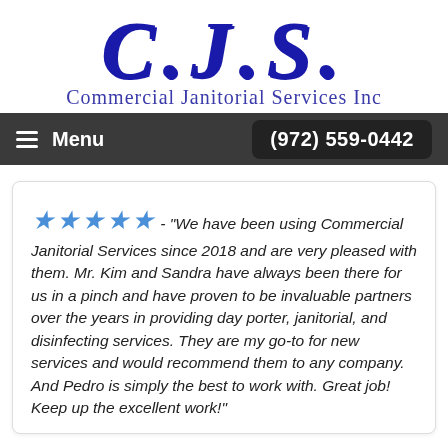[Figure (logo): C.J.S. Commercial Janitorial Services Inc logo in dark blue script lettering]
Menu  (972) 559-0442
★★★★★ - "We have been using Commercial Janitorial Services since 2018 and are very pleased with them. Mr. Kim and Sandra have always been there for us in a pinch and have proven to be invaluable partners over the years in providing day porter, janitorial, and disinfecting services. They are my go-to for new services and would recommend them to any company. And Pedro is simply the best to work with. Great job! Keep up the excellent work!"